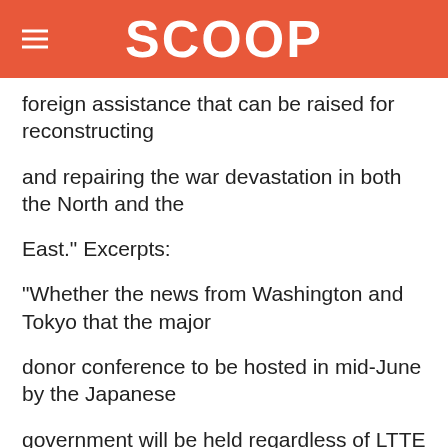SCOOP
foreign assistance that can be raised for reconstructing
and repairing the war devastation in both the North and the
East." Excerpts:
"Whether the news from Washington and Tokyo that the major
donor conference to be hosted in mid-June by the Japanese
government will be held regardless of LTTE participation
will nudge the Tigers to abandon their hard line and attend
the meeting remains to be seen. There is no doubt that